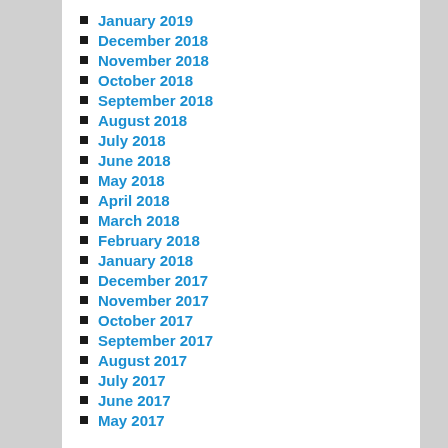January 2019
December 2018
November 2018
October 2018
September 2018
August 2018
July 2018
June 2018
May 2018
April 2018
March 2018
February 2018
January 2018
December 2017
November 2017
October 2017
September 2017
August 2017
July 2017
June 2017
May 2017